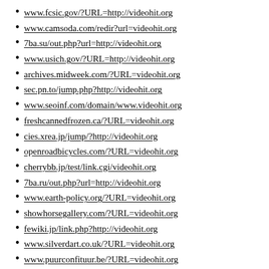www.fcsic.gov/?URL=http://videohit.org
www.camsoda.com/redir?url=videohit.org
7ba.su/out.php?url=http://videohit.org
www.usich.gov/?URL=http://videohit.org
archives.midweek.com/?URL=videohit.org
sec.pn.to/jump.php?http://videohit.org
www.seoinf.com/domain/www.videohit.org
freshcannedfrozen.ca/?URL=videohit.org
cies.xrea.jp/jump/?http://videohit.org
openroadbicycles.com/?URL=videohit.org
cherrybb.jp/test/link.cgi/videohit.org
7ba.ru/out.php?url=http://videohit.org
www.earth-policy.org/?URL=videohit.org
showhorsegallery.com/?URL=videohit.org
fewiki.jp/link.php?http://videohit.org
www.silverdart.co.uk/?URL=videohit.org
www.puurconfituur.be/?URL=videohit.org
www.onesky.ca/?URL=http://videohit.org
www.clevelandbay.com/?URL=videohit.org